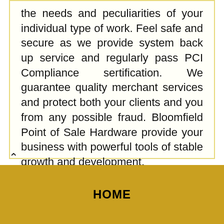the needs and peculiarities of your individual type of work. Feel safe and secure as we provide system back up service and regularly pass PCI Compliance sertification. We guarantee quality merchant services and protect both your clients and you from any possible fraud. Bloomfield Point of Sale Hardware provide your business with powerful tools of stable growth and development.
POS Software >
HOME